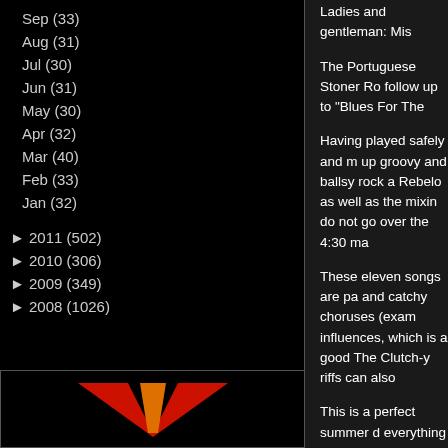Sep (33)
Aug (31)
Jul (30)
Jun (31)
May (30)
Apr (32)
Mar (40)
Feb (33)
Jan (32)
► 2011 (502)
► 2010 (306)
► 2009 (349)
► 2008 (1026)
[Figure (logo): V-shaped logo in red and gold colors on black background]
Ladies and gentleman: Mis
The Portuguese Stoner Ro follow up to "Blues For The
Having played safely and m up groovy and ballsy rock a Rebelo as well as the mixin do not go over the 4:30 ma
These eleven songs are pa and catchy choruses (exam influences, which is a good The Clutch-y riffs can also
This is a perfect summer d everything to succeed. The hope they have the oportu
Highly recommended!